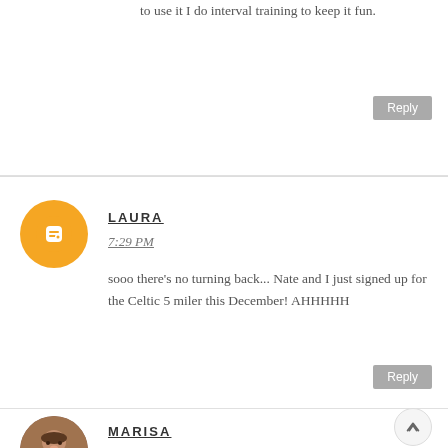to use it I do interval training to keep it fun.
Reply
LAURA
7:29 PM
sooo there's no turning back... Nate and I just signed up for the Celtic 5 miler this December! AHHHHH
Reply
MARISA
10:13 PM